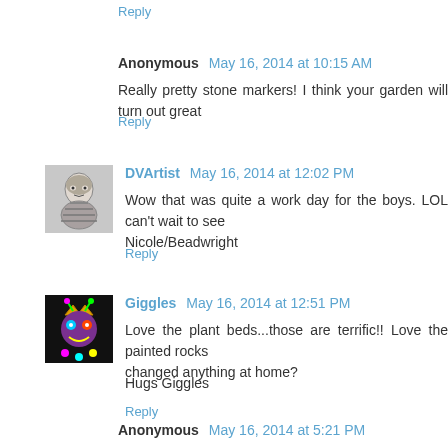Reply
Anonymous  May 16, 2014 at 10:15 AM
Really pretty stone markers! I think your garden will turn out great
Reply
[Figure (photo): Avatar photo of DVArtist - pencil sketch portrait]
DVArtist  May 16, 2014 at 12:02 PM
Wow that was quite a work day for the boys. LOL can't wait to see Nicole/Beadwright
Reply
[Figure (photo): Avatar of Giggles - colorful cartoon character with crown]
Giggles  May 16, 2014 at 12:51 PM
Love the plant beds...those are terrific!! Love the painted rocks changed anything at home?
Hugs Giggles
Reply
Anonymous  May 16, 2014 at 5:21 PM